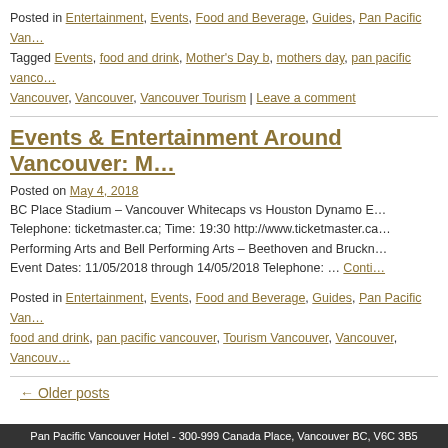Posted in Entertainment, Events, Food and Beverage, Guides, Pan Pacific Van… Tagged Events, food and drink, Mother's Day b, mothers day, pan pacific vanco… Vancouver, Vancouver, Vancouver Tourism | Leave a comment
Events & Entertainment Around Vancouver: M…
Posted on May 4, 2018
BC Place Stadium – Vancouver Whitecaps vs Houston Dynamo E… Telephone: ticketmaster.ca; Time: 19:30 http://www.ticketmaster.ca… Performing Arts and Bell Performing Arts – Beethoven and Bruckn… Event Dates: 11/05/2018 through 14/05/2018 Telephone: … Conti…
Posted in Entertainment, Events, Food and Beverage, Guides, Pan Pacific Van… food and drink, pan pacific vancouver, Tourism Vancouver, Vancouver, Vancouv…
← Older posts
Pan Pacific Vancouver Hotel - 300-999 Canada Place, Vancouver BC, V6C 3B5